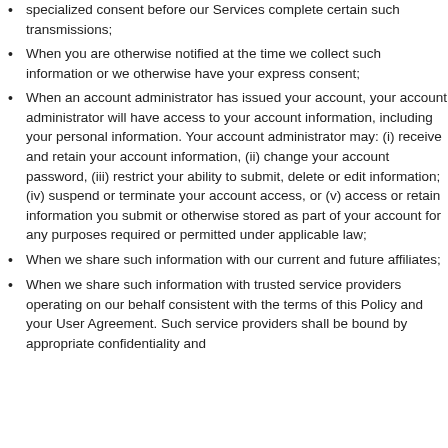specialized consent before our Services complete certain such transmissions;
When you are otherwise notified at the time we collect such information or we otherwise have your express consent;
When an account administrator has issued your account, your account administrator will have access to your account information, including your personal information. Your account administrator may: (i) receive and retain your account information, (ii) change your account password, (iii) restrict your ability to submit, delete or edit information; (iv) suspend or terminate your account access, or (v) access or retain information you submit or otherwise stored as part of your account for any purposes required or permitted under applicable law;
When we share such information with our current and future affiliates;
When we share such information with trusted service providers operating on our behalf consistent with the terms of this Policy and your User Agreement. Such service providers shall be bound by appropriate confidentiality and